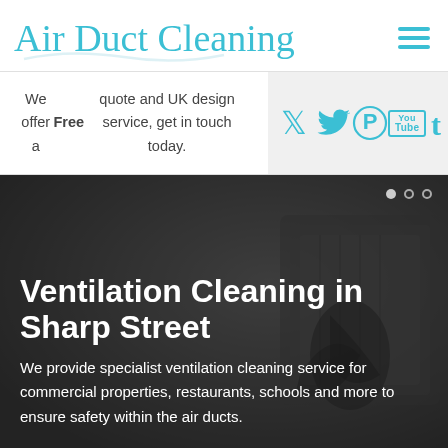Air Duct Cleaning
We offer a Free quote and UK design service, get in touch today.
[Figure (screenshot): Social media icons: Twitter, Pinterest, YouTube, Tumblr in teal color on light grey background]
[Figure (photo): Hero section with dark overlay on industrial air duct background image. Shows ventilation duct with debris.]
Ventilation Cleaning in Sharp Street
We provide specialist ventilation cleaning service for commercial properties, restaurants, schools and more to ensure safety within the air ducts.